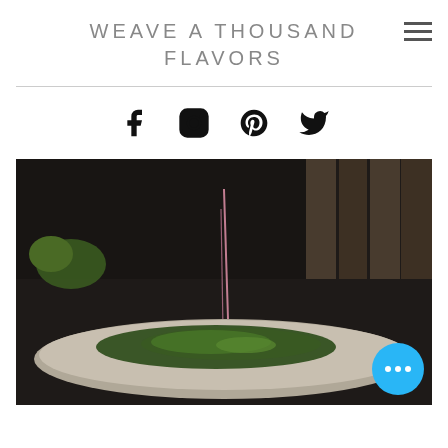WEAVE A THOUSAND FLAVORS
[Figure (illustration): Social media icons row: Facebook, Instagram, Pinterest, Twitter]
[Figure (photo): Food photograph showing a bowl with greens and garnish on a dark background, with a cyan/blue floating action button with ellipsis dots in bottom right]